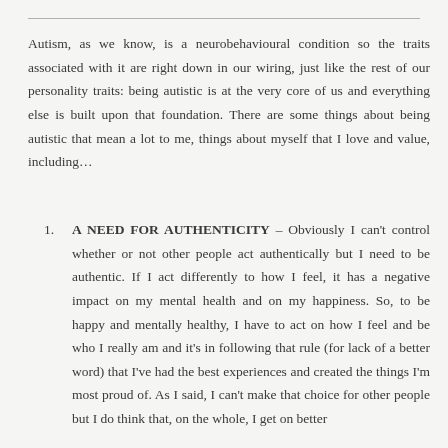Autism, as we know, is a neurobehavioural condition so the traits associated with it are right down in our wiring, just like the rest of our personality traits: being autistic is at the very core of us and everything else is built upon that foundation. There are some things about being autistic that mean a lot to me, things about myself that I love and value, including…
1. A NEED FOR AUTHENTICITY – Obviously I can't control whether or not other people act authentically but I need to be authentic. If I act differently to how I feel, it has a negative impact on my mental health and on my happiness. So, to be happy and mentally healthy, I have to act on how I feel and be who I really am and it's in following that rule (for lack of a better word) that I've had the best experiences and created the things I'm most proud of. As I said, I can't make that choice for other people but I do think that, on the whole, I get on better